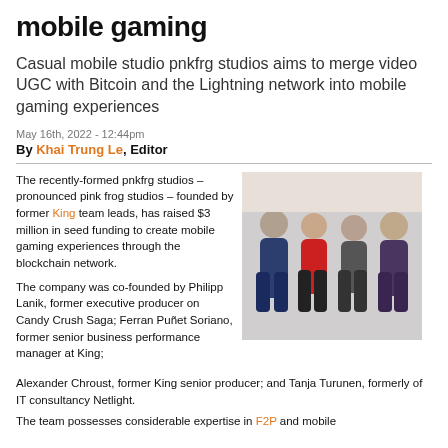mobile gaming
Casual mobile studio pnkfrg studios aims to merge video UGC with Bitcoin and the Lightning network into mobile gaming experiences
May 16th, 2022 - 12:44pm
By Khai Trung Le, Editor
The recently-formed pnkfrg studios – pronounced pink frog studios – founded by former King team leads, has raised $3 million in seed funding to create mobile gaming experiences through the blockchain network.
[Figure (photo): Group photo of four people — the founders of pnkfrg studios — standing together indoors.]
The company was co-founded by Philipp Lanik, former executive producer on Candy Crush Saga; Ferran Puñet Soriano, former senior business performance manager at King; Alexander Chroust, former King senior producer; and Tanja Turunen, formerly of IT consultancy Netlight.
The team possesses considerable expertise in F2P and mobile